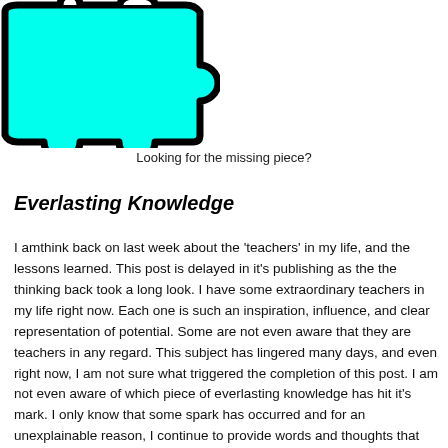[Figure (illustration): A cyan/turquoise puzzle piece with a thick black outline, showing connectors on the bottom and cutouts on the top. The piece is missing its bottom connector match, suggesting a missing piece.]
Looking for the missing piece?
Everlasting Knowledge
I amthink back on last week about the 'teachers' in my life, and the lessons learned. This post is delayed in it's publishing as the the thinking back took a long look. I have some extraordinary teachers in my life right now. Each one is such an inspiration, influence, and clear representation of potential. Some are not even aware that they are teachers in any regard. This subject has lingered many days, and even right now, I am not sure what triggered the completion of this post. I am not even aware of which piece of everlasting knowledge has hit it's mark. I only know that some spark has occurred and for an unexplainable reason, I continue to provide words and thoughts that